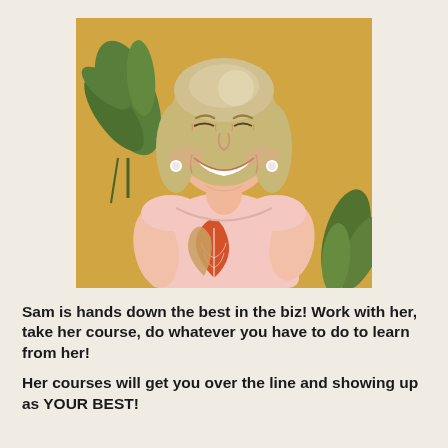[Figure (photo): A smiling woman with short blonde hair wearing a light pink t-shirt with a tropical leaf print, standing in front of a yellow wall with green plants visible in the background.]
Sam is hands down the best in the biz! Work with her, take her course, do whatever you have to do to learn from her!
Her courses will get you over the line and showing up as YOUR BEST!